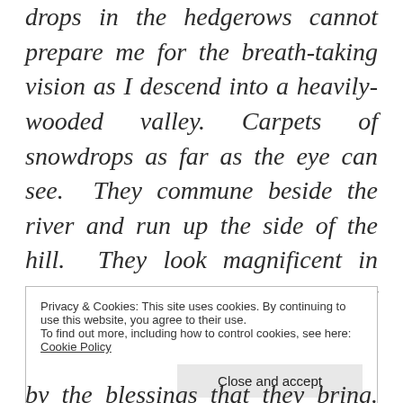drops in the hedgerows cannot prepare me for the breath-taking vision as I descend into a heavily-wooded valley. Carpets of snowdrops as far as the eye can see.  They commune beside the river and run up the side of the hill.  They look magnificent in large communities, but each plant is distinctive and beautifully formed.  Like the human race, they need the support of each other to flourish.
Privacy & Cookies: This site uses cookies. By continuing to use this website, you agree to their use.
To find out more, including how to control cookies, see here: Cookie Policy
Close and accept
by the blessings that they bring.  Some say